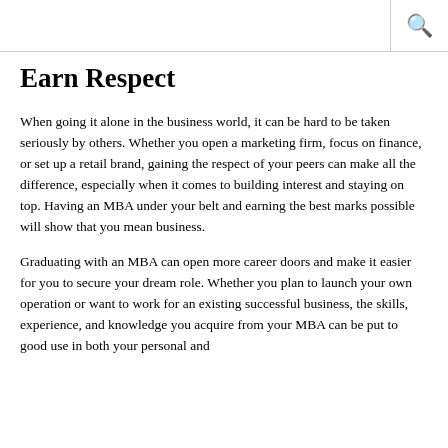Earn Respect
When going it alone in the business world, it can be hard to be taken seriously by others. Whether you open a marketing firm, focus on finance, or set up a retail brand, gaining the respect of your peers can make all the difference, especially when it comes to building interest and staying on top. Having an MBA under your belt and earning the best marks possible will show that you mean business.
Graduating with an MBA can open more career doors and make it easier for you to secure your dream role. Whether you plan to launch your own operation or want to work for an existing successful business, the skills, experience, and knowledge you acquire from your MBA can be put to good use in both your personal and professional lives.